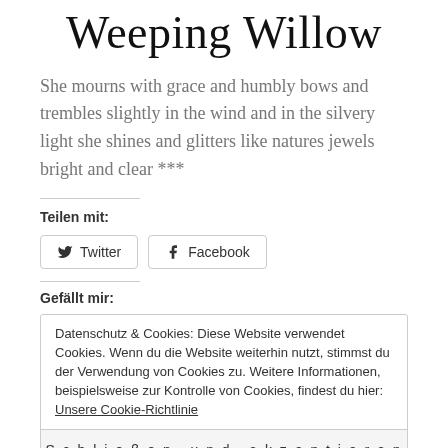Weeping Willow
She mourns with grace and humbly bows and trembles slightly in the wind and in the silvery light she shines and glitters like natures jewels bright and clear ***
Teilen mit:
[Figure (other): Social share buttons: Twitter and Facebook]
Gefällt mir:
Datenschutz & Cookies: Diese Website verwendet Cookies. Wenn du die Website weiterhin nutzt, stimmst du der Verwendung von Cookies zu. Weitere Informationen, beispielsweise zur Kontrolle von Cookies, findest du hier: Unsere Cookie-Richtlinie
Schließen und akzeptieren